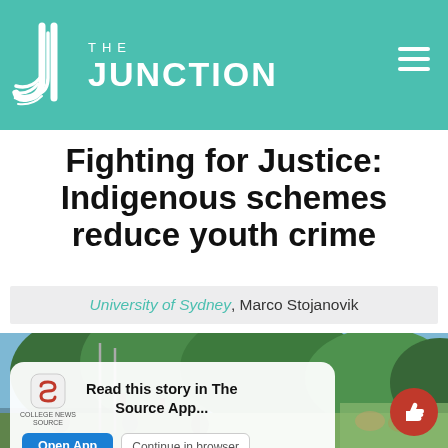THE JUNCTION
Fighting for Justice: Indigenous schemes reduce youth crime
University of Sydney, Marco Stojanovik
[Figure (photo): Outdoor scene with trees, blue sky, and people gathered in a park or open area]
Read this story in The Source App...
Open App  Continue in browser